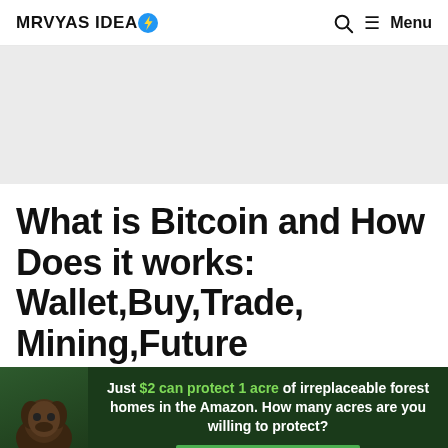MRVYAS IDEAS  🔍  ☰ Menu
[Figure (other): Gray advertisement banner placeholder area at top of page]
What is Bitcoin and How Does it works: Wallet,Buy,Trade, Mining,Future
[Figure (other): Amazon forest conservation advertisement: Just $2 can protect 1 acre of irreplaceable forest homes in the Amazon. How many acres are you willing to protect? PROTECT FORESTS NOW]
↓